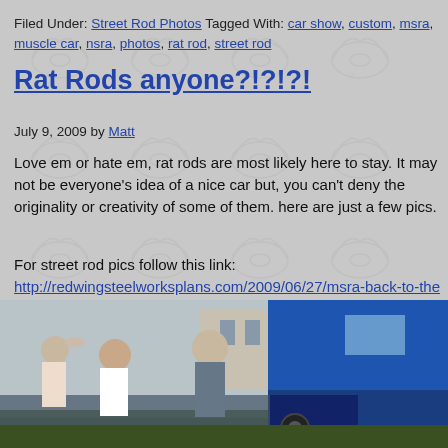Filed Under: Street Rod Photos Tagged With: car show, custom, msra, muscle car, nsra, photos, rat rod, street rod
Rat Rods anyone?!?!?!
July 9, 2009 by Matt
Love em or hate em, rat rods are most likely here to stay. It may not be everyone's idea of a nice car but, you can't deny the originality or creativity of some of them. here are just a few pics.
For street rod pics follow this link: http://redwingsteelworksplans.com/2009/06/27/msra-back-to-the-50s-weekend-car-show/
[Figure (photo): Outdoor car show scene with people walking around, a blue classic truck on the right side, and green grass in the foreground.]